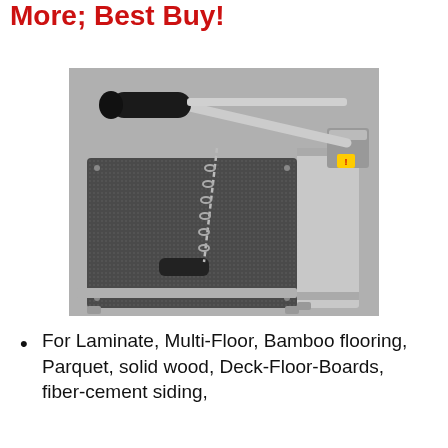More; Best Buy!
[Figure (photo): A laminate/flooring cutter tool with a black rubber handle, metal arm mechanism, chain, and a large dark cutting base platform, photographed on a gray floor.]
For Laminate, Multi-Floor, Bamboo flooring, Parquet, solid wood, Deck-Floor-Boards, fiber-cement siding,